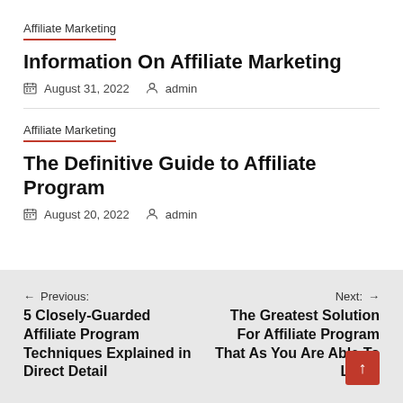Affiliate Marketing
Information On Affiliate Marketing
August 31, 2022   admin
Affiliate Marketing
The Definitive Guide to Affiliate Program
August 20, 2022   admin
Previous: 5 Closely-Guarded Affiliate Program Techniques Explained in Direct Detail   Next: The Greatest Solution For Affiliate Program That As You Are Able To Learn